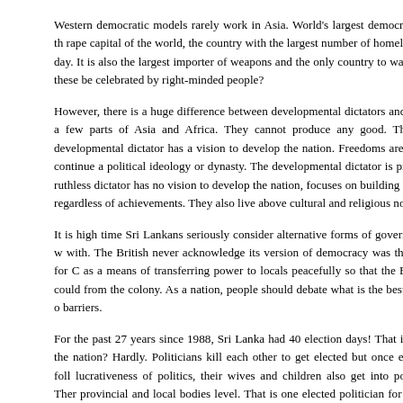Western democratic models rarely work in Asia. World's largest democracy is the rape capital of the world, the country with the largest number of homeless people a day. It is also the largest importer of weapons and the only country to wage wa... these be celebrated by right-minded people?
However, there is a huge difference between developmental dictators and ruthless dictators in a few parts of Asia and Africa. They cannot produce any good. The developmental dictator has a vision to develop the nation. Freedoms are restricted to continue a political ideology or dynasty. The developmental dictator is pragmatic. The ruthless dictator has no vision to develop the nation, focuses on building up his regardless of achievements. They also live above cultural and religious norms.
It is high time Sri Lankans seriously consider alternative forms of government with. The British never acknowledge its version of democracy was the best for as a means of transferring power to locals peacefully so that the British could from the colony. As a nation, people should debate what is the best form of barriers.
For the past 27 years since 1988, Sri Lanka had 40 election days! That is an the nation? Hardly. Politicians kill each other to get elected but once elected lucrativeness of politics, their wives and children also get into politics. There provincial and local bodies level. That is one elected politician for every 32 square election are considered, that is one candidate for every 10 square kilometres. politician comes with his band of assistants, a fleet of expensive imported vehicles paid by taxpayers. How good to invest this money in development.
May be Sri Lankans should learn from the experiences of South Korea, Taiwan...